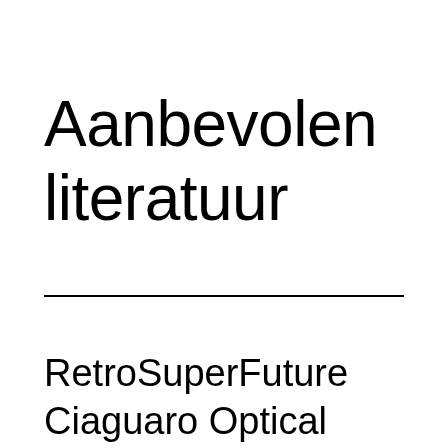Aanbevolen literatuur
RetroSuperFuture
Ciaguaro Optical Black